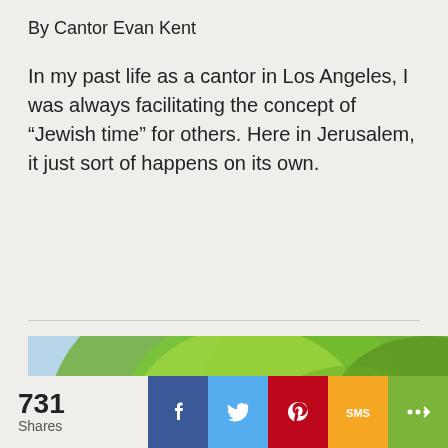By Cantor Evan Kent
In my past life as a cantor in Los Angeles, I was always facilitating the concept of “Jewish time” for others. Here in Jerusalem, it just sort of happens on its own.
[Figure (photo): A large tree with spreading branches and green/yellow foliage photographed from below against a bright sky.]
731 Shares